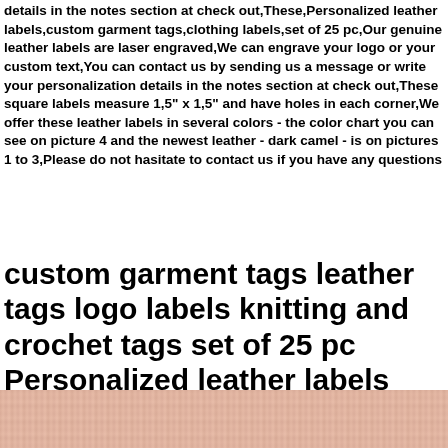details in the notes section at check out,These,Personalized leather labels,custom garment tags,clothing labels,set of 25 pc,Our genuine leather labels are laser engraved,We can engrave your logo or your custom text,You can contact us by sending us a message or write your personalization details in the notes section at check out,These square labels measure 1,5" x 1,5" and have holes in each corner,We offer these leather labels in several colors - the color chart you can see on picture 4 and the newest leather - dark camel - is on pictures 1 to 3,Please do not hasitate to contact us if you have any questions
custom garment tags leather tags logo labels knitting and crochet tags set of 25 pc Personalized leather labels clothing labels
[Figure (photo): Close-up photo of pink/salmon knitted fabric texture]